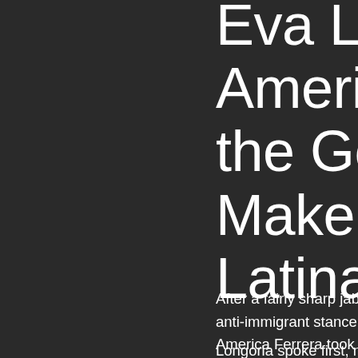Eva Longoria and America Ferrera the Golden Globes Make a Point About Latinas
After a fairly sharp jab at 2016 presidential candidates' anti-immigrant stance from host Ricky Gervais, Eva Longoria and America Ferrera took to the Golden Globes stage to present the award for lead actor in a drama TV series.
Longoria spoke first, noting that she was in fact th...